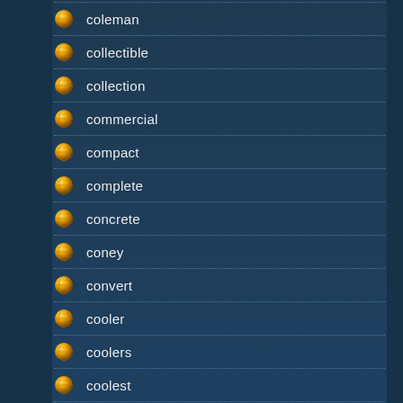coleman
collectible
collection
commercial
compact
complete
concrete
coney
convert
cooler
coolers
coolest
cooling
coors